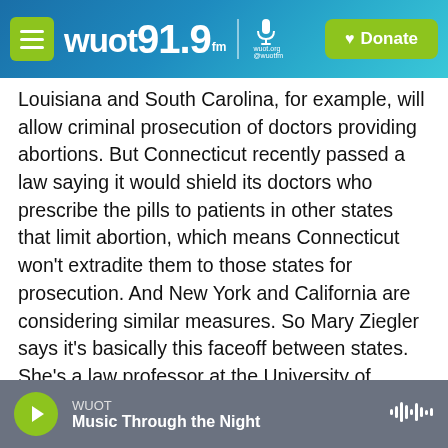WUOT 91.9 FM | Donate
Louisiana and South Carolina, for example, will allow criminal prosecution of doctors providing abortions. But Connecticut recently passed a law saying it would shield its doctors who prescribe the pills to patients in other states that limit abortion, which means Connecticut won't extradite them to those states for prosecution. And New York and California are considering similar measures. So Mary Ziegler says it's basically this faceoff between states. She's a law professor at the University of California, Davis.
MARY ZIEGLER: Soon the question is going to be
WUOT | Music Through the Night